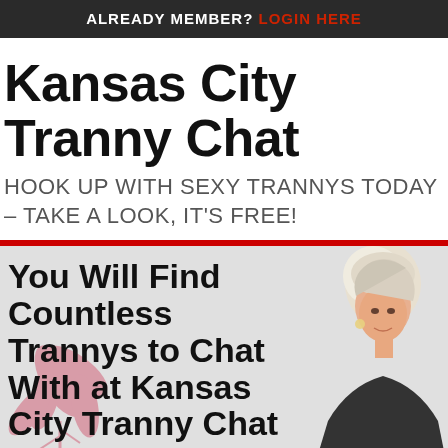ALREADY MEMBER? LOGIN HERE
Kansas City Tranny Chat
HOOK UP WITH SEXY TRANNYS TODAY – TAKE A LOOK, IT'S FREE!
[Figure (illustration): Section with large heading text 'You Will Find Countless Trannys to Chat With at Kansas City Tranny Chat' overlaid on a light grey background with a red floral decorative element on the left and a photo of a blonde woman on the right side.]